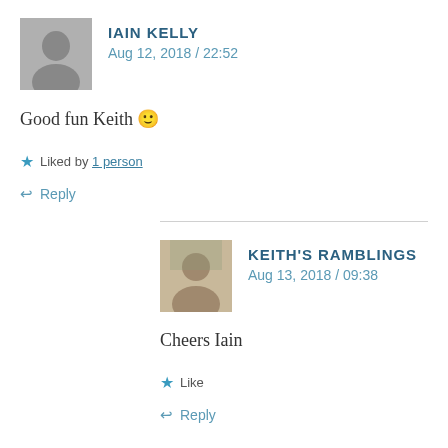IAIN KELLY
Aug 12, 2018 / 22:52
Good fun Keith 🙂
★ Liked by 1 person
↩ Reply
KEITH'S RAMBLINGS
Aug 13, 2018 / 09:38
Cheers Iain
★ Like
↩ Reply